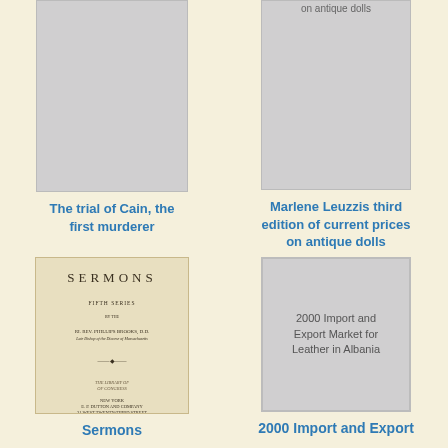[Figure (photo): Grey placeholder book cover (top, partially visible) for 'The trial of Cain, the first murderer']
[Figure (photo): Grey placeholder book cover (top, partially visible) with label 'on antique dolls' for 'Marlene Leuzzis third edition of current prices on antique dolls']
The trial of Cain, the first murderer
Marlene Leuzzis third edition of current prices on antique dolls
[Figure (photo): Tan/beige book cover showing 'SERMONS' with author RI. REV. PHILLIPS BROOKS, D.D., published by E.P. DUTTON AND COMPANY, New York]
[Figure (photo): Grey placeholder book cover with text '2000 Import and Export Market for Leather in Albania']
Sermons
2000 Import and Export